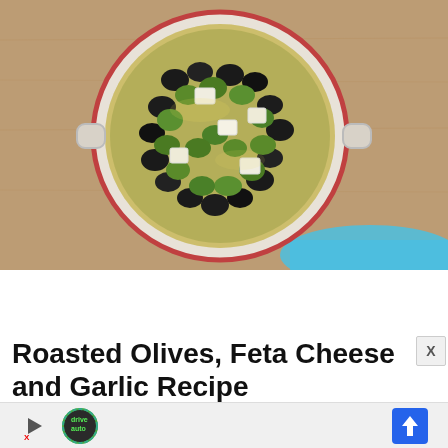Foodzesty
[Figure (photo): Overhead view of a white ceramic baking dish with handles, filled with mixed green and black olives, cubes of feta cheese, and herbs in olive oil. A blue cloth is partially visible beneath the dish, and the dish sits on a wooden surface.]
Roasted Olives, Feta Cheese and Garlic Recipe
[Figure (other): Advertisement banner with DriveAuto logo and navigation arrow icon]